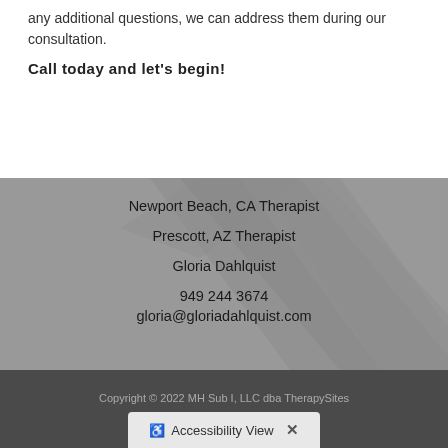any additional questions, we can address them during our consultation.
Call today and let's begin!
Newport Beach, CA Therapist
Prescott, AZ Therapist
Gloria Dahlquist
949 244 3674
gloria@gloriadahlquist.com
Copyright © 2022 MH Sub I, LLC dba TherapySites
Accessibility View